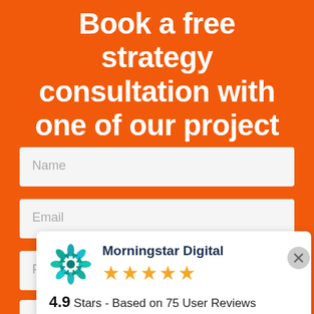Book a free strategy consultation with one of our project managers.
Name
Email
Ph
[Figure (other): Morningstar Digital logo — a teal/green starburst icon]
Morningstar Digital
★★★★★
4.9 Stars - Based on 75 User Reviews